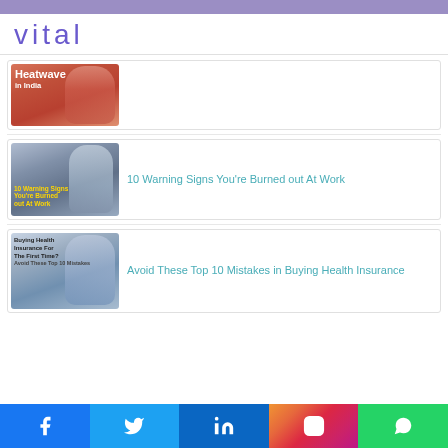vital
[Figure (photo): Heatwave in India article thumbnail - woman drinking water in red top, text overlay says Heatwave in India]
[Figure (photo): 10 Warning Signs You're Burned out At Work article thumbnail - woman with head in hands looking stressed at desk, yellow text overlay]
10 Warning Signs You're Burned out At Work
[Figure (photo): Avoid These Top 10 Mistakes in Buying Health Insurance article thumbnail - woman looking stressed at laptop, text overlay says Buying Health Insurance For The First Time? Avoid These Top 10 Mistakes]
Avoid These Top 10 Mistakes in Buying Health Insurance
Facebook Twitter LinkedIn Instagram WhatsApp